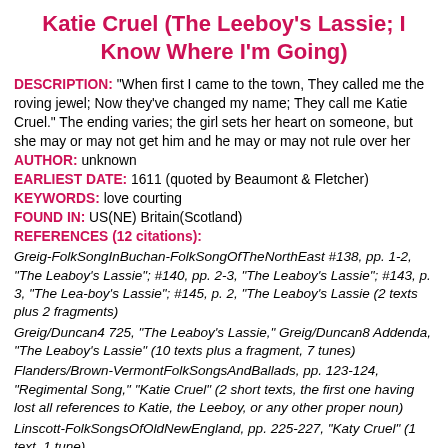Katie Cruel (The Leeboy's Lassie; I Know Where I'm Going)
DESCRIPTION: "When first I came to the town, They called me the roving jewel; Now they've changed my name; They call me Katie Cruel." The ending varies; the girl sets her heart on someone, but she may or may not get him and he may or may not rule over her
AUTHOR: unknown
EARLIEST DATE: 1611 (quoted by Beaumont & Fletcher)
KEYWORDS: love courting
FOUND IN: US(NE) Britain(Scotland)
REFERENCES (12 citations):
Greig-FolkSongInBuchan-FolkSongOfTheNorthEast #138, pp. 1-2, "The Leaboy's Lassie"; #140, pp. 2-3, "The Leaboy's Lassie"; #143, p. 3, "The Lea-boy's Lassie"; #145, p. 2, "The Leaboy's Lassie (2 texts plus 2 fragments)
Greig/Duncan4 725, "The Leaboy's Lassie," Greig/Duncan8 Addenda, "The Leaboy's Lassie" (10 texts plus a fragment, 7 tunes)
Flanders/Brown-VermontFolkSongsAndBallads, pp. 123-124, "Regimental Song," "Katie Cruel" (2 short texts, the first one having lost all references to Katie, the Leeboy, or any other proper noun)
Linscott-FolkSongsOfOldNewEngland, pp. 225-227, "Katy Cruel" (1 text, 1 tune)
Scott-TheBalladOfAmerica, pp. 50-52, "Katie Cruel" (1 text, 1 tune)
Burton/Manning-EastTennesseeStateCollectionVol1, p. 109, "I Know Where I'm Going" (1 text, 1 tune, probably influenced by popular recordings)